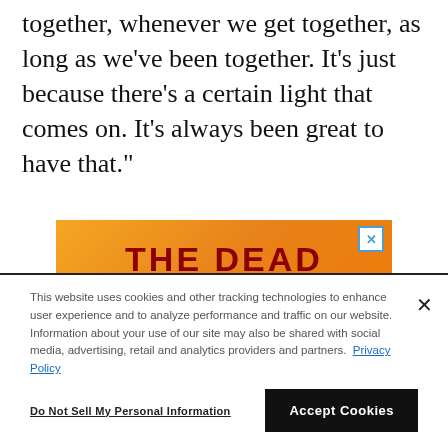together, whenever we get together, as long as we've been together. It's just because there's a certain light that comes on. It's always been great to have that."
[Figure (illustration): Advertisement banner for 'The Dead Daisies' band, orange background with dark red text and white phoenix logo]
This website uses cookies and other tracking technologies to enhance user experience and to analyze performance and traffic on our website. Information about your use of our site may also be shared with social media, advertising, retail and analytics providers and partners. Privacy Policy
Do Not Sell My Personal Information
Accept Cookies